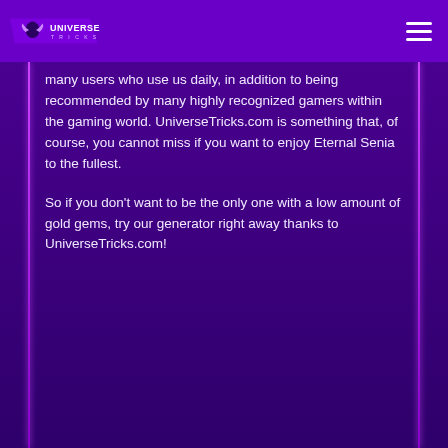Universe Tricks
many users who use us daily, in addition to being recommended by many highly recognized gamers within the gaming world. UniverseTricks.com is something that, of course, you cannot miss if you want to enjoy Eternal Senia to the fullest.
So if you don't want to be the only one with a low amount of gold gems, try our generator right away thanks to UniverseTricks.com!